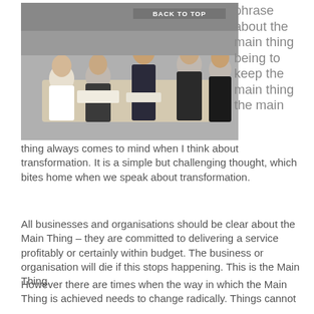[Figure (photo): Group of business professionals sitting and standing around a conference table in discussion, office setting.]
phrase about the main thing being to keep the main thing the main thing always comes to mind when I think about transformation. It is a simple but challenging thought, which bites home when we speak about transformation.
All businesses and organisations should be clear about the Main Thing – they are committed to delivering a service profitably or certainly within budget. The business or organisation will die if this stops happening. This is the Main Thing.
However there are times when the way in which the Main Thing is achieved needs to change radically. Things cannot